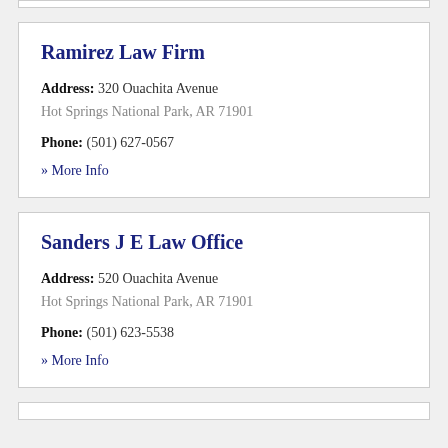Ramirez Law Firm
Address: 320 Ouachita Avenue
Hot Springs National Park, AR 71901
Phone: (501) 627-0567
» More Info
Sanders J E Law Office
Address: 520 Ouachita Avenue
Hot Springs National Park, AR 71901
Phone: (501) 623-5538
» More Info